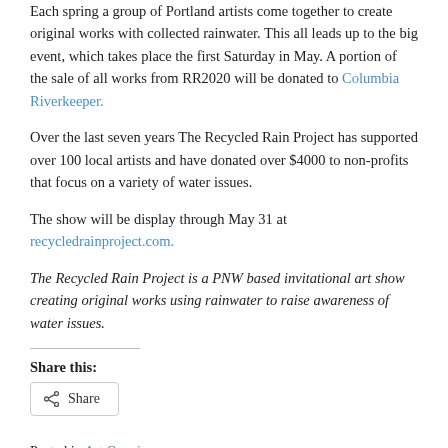Each spring a group of Portland artists come together to create original works with collected rainwater. This all leads up to the big event, which takes place the first Saturday in May. A portion of the sale of all works from RR2020 will be donated to Columbia Riverkeeper.
Over the last seven years The Recycled Rain Project has supported over 100 local artists and have donated over $4000 to non-profits that focus on a variety of water issues.
The show will be display through May 31 at recycledrainproject.com.
The Recycled Rain Project is a PNW based invitational art show creating original works using rainwater to raise awareness of water issues.
Share this:
Posted in Art Opening